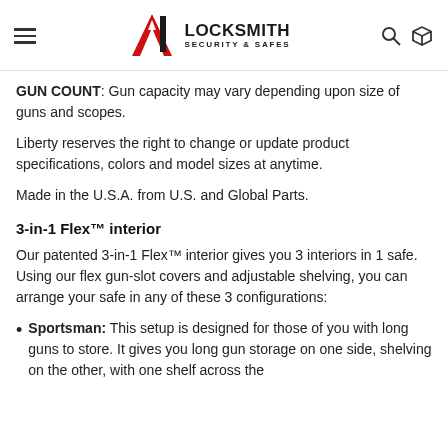A1 LOCKSMITH SECURITY & SAFES
GUN COUNT: Gun capacity may vary depending upon size of guns and scopes.
Liberty reserves the right to change or update product specifications, colors and model sizes at anytime.
Made in the U.S.A. from U.S. and Global Parts.
3-in-1 Flex™ interior
Our patented 3-in-1 Flex™ interior gives you 3 interiors in 1 safe. Using our flex gun-slot covers and adjustable shelving, you can arrange your safe in any of these 3 configurations:
Sportsman: This setup is designed for those of you with long guns to store. It gives you long gun storage on one side, shelving on the other, with one shelf across the